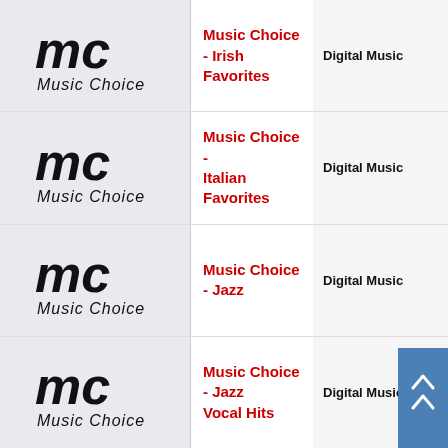| Logo | Channel Name | Type |
| --- | --- | --- |
| Music Choice logo | Music Choice - Irish Favorites | Digital Music |
| Music Choice logo | Music Choice - Italian Favorites | Digital Music |
| Music Choice logo | Music Choice - Jazz | Digital Music |
| Music Choice logo | Music Choice - Jazz Vocal Hits | Digital Music |